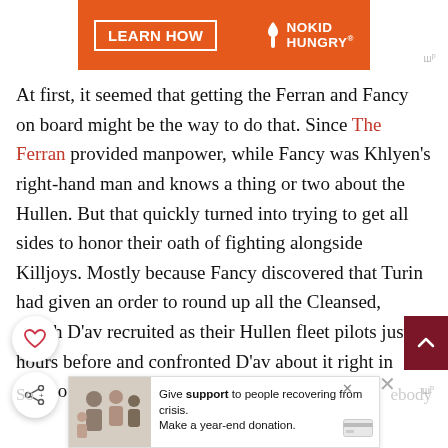[Figure (other): Orange advertisement banner for No Kid Hungry with LEARN HOW button and logo]
At first, it seemed that getting the Ferran and Fancy on board might be the way to do that. Since The Ferran provided manpower, while Fancy was Khlyen's right-hand man and knows a thing or two about the Hullen. But that quickly turned into trying to get all sides to honor their oath of fighting alongside Killjoys. Mostly because Fancy discovered that Turin had given an order to round up all the Cleansed, which D'av recruited as their Hullen fleet pilots just hours before and confronted D'av about it right in front of the Ferran and Jaal.
[Figure (other): Bottom advertisement: Give support to people recovering from crisis. Make a year-end donation.]